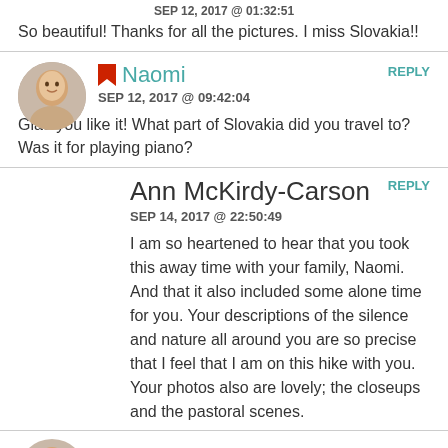SEP 12, 2017 @ 01:32:51
So beautiful! Thanks for all the pictures. I miss Slovakia!!
REPLY
Naomi
SEP 12, 2017 @ 09:42:04
Glad you like it! What part of Slovakia did you travel to? Was it for playing piano?
REPLY
Ann McKirdy-Carson
SEP 14, 2017 @ 22:50:49
I am so heartened to hear that you took this away time with your family, Naomi. And that it also included some alone time for you. Your descriptions of the silence and nature all around you are so precise that I feel that I am on this hike with you. Your photos also are lovely; the closeups and the pastoral scenes.
REPLY
Naomi